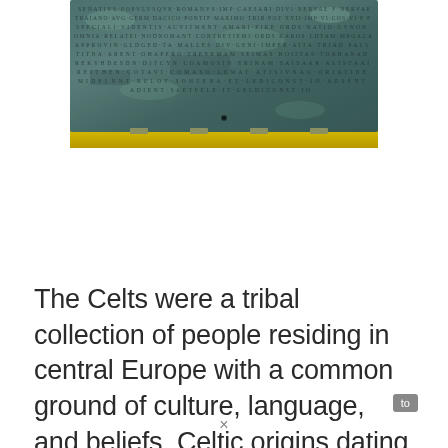[Figure (photo): Photograph of an ancient bronze or stone tablet covered in Latin or ancient inscriptions, with a greenish-blue patina and worn surface with multiple lines of text carved or etched into it.]
The Celts were a tribal collection of people residing in central Europe with a common ground of culture, language, and beliefs. Celtic origins dating back to